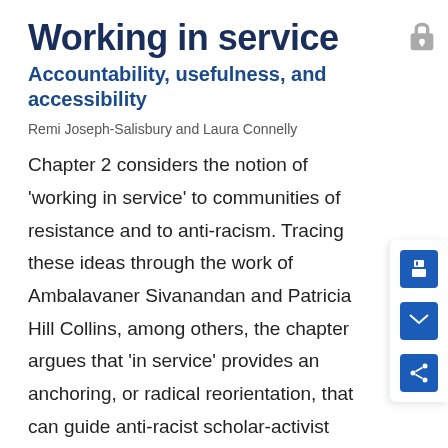Working in service
Accountability, usefulness, and accessibility
Remi Joseph-Salisbury and Laura Connelly
Chapter 2 considers the notion of 'working in service' to communities of resistance and to anti-racism. Tracing these ideas through the work of Ambalavaner Sivanandan and Patricia Hill Collins, among others, the chapter argues that 'in service' provides an anchoring, or radical reorientation, that can guide anti-racist scholar-activist praxis. Showing that working in service to anti-racism pushes against the dominant logics of the neoliberal, imperial, institutionally